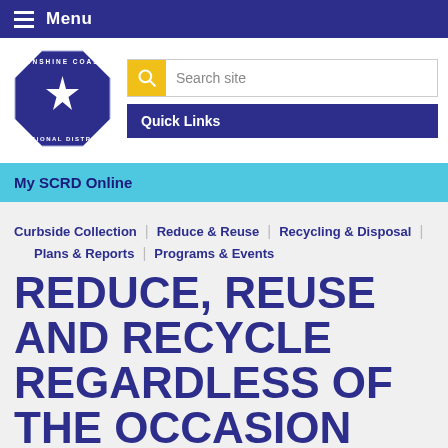Menu
[Figure (logo): Sunshine Coast Regional District octagon logo in navy blue with white star and text]
Search site
Quick Links
My SCRD Online
Curbside Collection
Reduce & Reuse
Recycling & Disposal
Plans & Reports
Programs & Events
REDUCE, REUSE AND RECYCLE REGARDLESS OF THE OCCASION